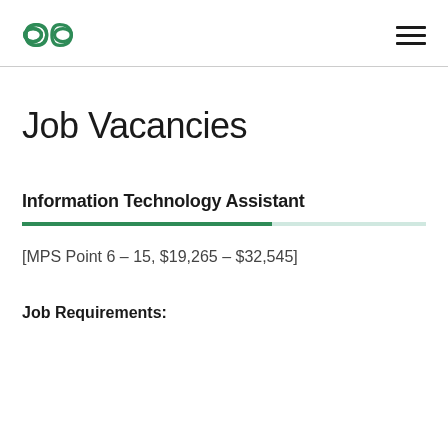Logo and navigation menu
Job Vacancies
Information Technology Assistant
[MPS Point 6 – 15, $19,265 – $32,545]
Job Requirements: